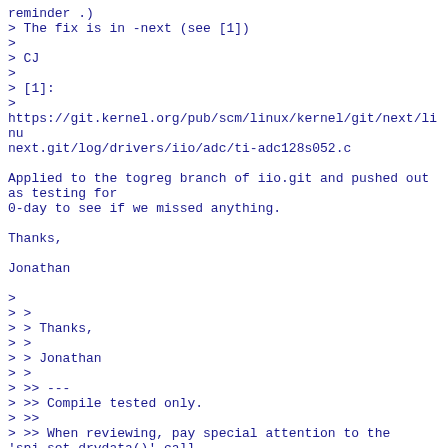reminder .)
> The fix is in -next (see [1])
>
> CJ
>
> [1]:
>
https://git.kernel.org/pub/scm/linux/kernel/git/next/linu
next.git/log/drivers/iio/adc/ti-adc128s052.c

Applied to the togreg branch of iio.git and pushed out as testing for
0-day to see if we missed anything.

Thanks,

Jonathan

>
> >
> > Thanks,
> >
> > Jonathan
> >
> >> ---
> >> Compile tested only.
> >>
> >> When reviewing, pay special attention to the 'spi_set_drvdata()' call
> >> removal. I recently introduced a regression with a
too_aggressive_cleanup